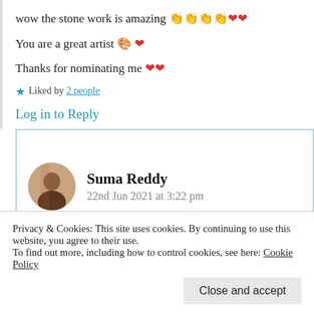wow the stone work is amazing 👏👏👏👏❤️❤️
You are a great artist 🎨 ❤️
Thanks for nominating me ❤️❤️
★ Liked by 2 people
Log in to Reply
Suma Reddy
22nd Jun 2021 at 3:22 pm
glad to nominate you as you deserve it
Privacy & Cookies: This site uses cookies. By continuing to use this website, you agree to their use.
To find out more, including how to control cookies, see here: Cookie Policy
Close and accept